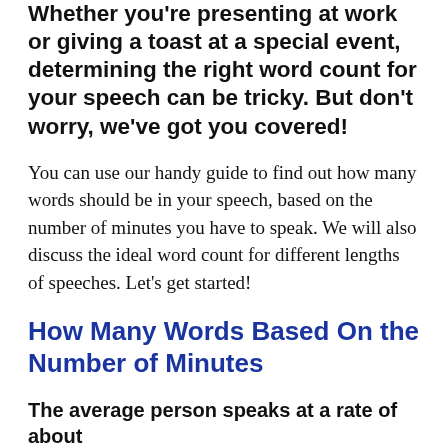Whether you're presenting at work or giving a toast at a special event, determining the right word count for your speech can be tricky. But don't worry, we've got you covered!
You can use our handy guide to find out how many words should be in your speech, based on the number of minutes you have to speak. We will also discuss the ideal word count for different lengths of speeches. Let's get started!
How Many Words Based On the Number of Minutes
The average person speaks at a rate of about